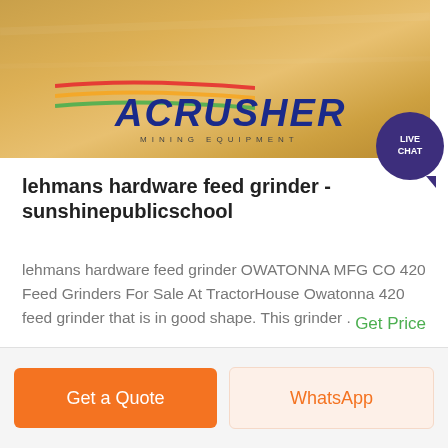[Figure (photo): ACRUSHER Mining Equipment banner image with logo on orange/yellow industrial background]
lehmans hardware feed grinder - sunshinepublicschool
lehmans hardware feed grinder OWATONNA MFG CO 420 Feed Grinders For Sale At TractorHouse Owatonna 420 feed grinder that is in good shape. This grinder .
Get Price
Get a Quote
WhatsApp